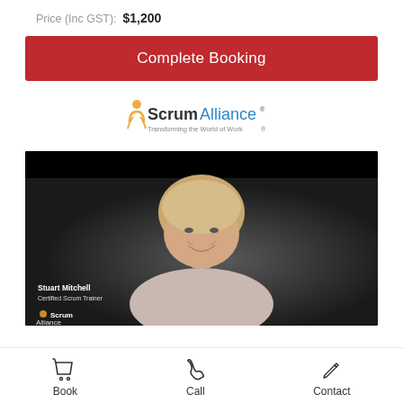Price (Inc GST):  $1,200
Complete Booking
[Figure (logo): Scrum Alliance logo with tagline 'Transforming the World of Work']
[Figure (photo): Stuart Mitchell, Certified Scrum Trainer, smiling, with Scrum Alliance logo overlay in bottom left of video frame]
Book
Call
Contact